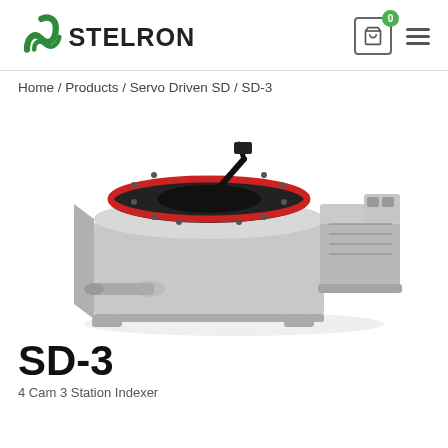STELRON
Home / Products / Servo Driven SD / SD-3
[Figure (photo): 3D rendering of the SD-3 servo driven indexing unit — a grey mechanical rotary indexing table with a black circular top plate featuring a red ring seal, a black arm/crank mechanism, and a grey rectangular servo motor housing on the right side, with a cylindrical shaft extending from the front-left.]
SD-3
4 Cam 3 Station Indexer